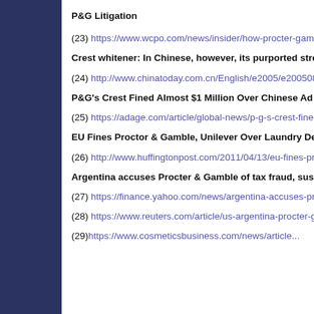P&G Litigation
(23) https://www.wcpo.com/news/insider/how-procter-gam...
Crest whitener: In Chinese, however, its purported strength...
(24) http://www.chinatoday.com.cn/English/e2005/e200508...
P&G's Crest Fined Almost $1 Million Over Chinese Ad
(25) https://adage.com/article/global-news/p-g-s-crest-fined...
EU Fines Proctor & Gamble, Unilever Over Laundry Deter...
(26) http://www.huffingtonpost.com/2011/04/13/eu-fines-pr...
Argentina accuses Procter & Gamble of tax fraud, suspends...
(27) https://finance.yahoo.com/news/argentina-accuses-pro...
(28) https://www.reuters.com/article/us-argentina-procter-g...
(29) https://www.cosmeticsbusiness.com/news/article...